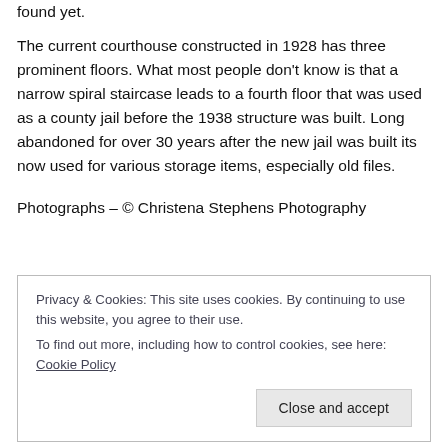found yet.
The current courthouse constructed in 1928 has three prominent floors. What most people don't know is that a narrow spiral staircase leads to a fourth floor that was used as a county jail before the 1938 structure was built. Long abandoned for over 30 years after the new jail was built its now used for various storage items, especially old files.
Photographs – © Christena Stephens Photography
Privacy & Cookies: This site uses cookies. By continuing to use this website, you agree to their use.
To find out more, including how to control cookies, see here: Cookie Policy